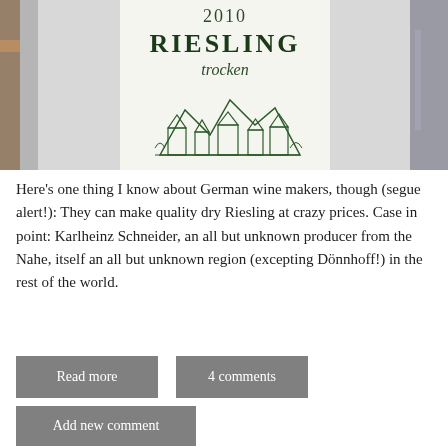[Figure (photo): Close-up photo of a wine bottle label showing '2010 RIESLING trocken' with a decorative illustration of buildings/vineyards, placed against a blurred striped fabric background]
Here's one thing I know about German wine makers, though (segue alert!): They can make quality dry Riesling at crazy prices. Case in point: Karlheinz Schneider, an all but unknown producer from the Nahe, itself an all but unknown region (excepting Dönnhoff!) in the rest of the world.
Read more
4 comments
Add new comment